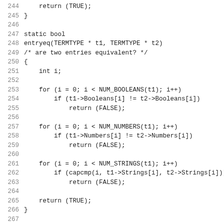244     return (TRUE);
245 }
246
247 static bool
248 entryeq(TERMTYPE * t1, TERMTYPE * t2)
249 /* are two entries equivalent? */
250 {
251     int i;
252
253     for (i = 0; i < NUM_BOOLEANS(t1); i++)
254         if (t1->Booleans[i] != t2->Booleans[i])
255             return (FALSE);
256
257     for (i = 0; i < NUM_NUMBERS(t1); i++)
258         if (t1->Numbers[i] != t2->Numbers[i])
259             return (FALSE);
260
261     for (i = 0; i < NUM_STRINGS(t1); i++)
262         if (capcmp(i, t1->Strings[i], t2->Strings[i]))
263             return (FALSE);
264
265     return (TRUE);
266 }
267
268 #define TIC_EXPAND(result) _nc_tic_expand(result, outfc
269
270 static void
271 print_uses(ENTRY * ep, FILE * fp)
272 /* print an entry's use references */
273 {
274     int i;
275